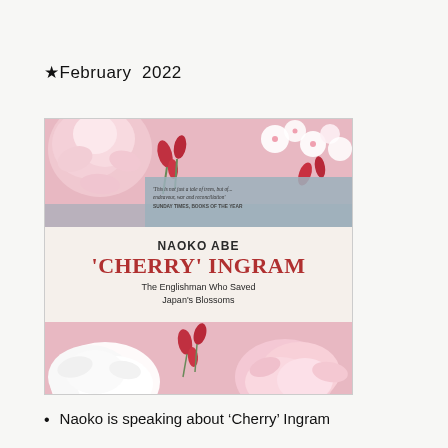★February  2022
[Figure (photo): Book cover of 'Cherry' Ingram by Naoko Abe. Pink floral background with cherry blossoms. Text reads: 'This is not just a tale of trees, but of... endeavour, war and reconciliation' SUNDAY TIMES, BOOKS OF THE YEAR. NAOKO ABE. 'CHERRY' INGRAM. The Englishman Who Saved Japan's Blossoms.]
Naoko is speaking about 'Cherry' Ingram